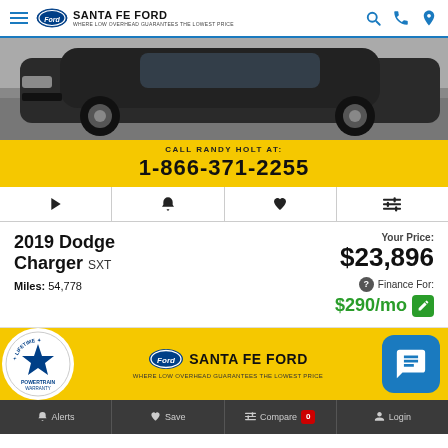Santa Fe Ford — WHERE LOW OVERHEAD GUARANTEES THE LOWEST PRICE
[Figure (photo): Dark gray Dodge Charger car photograph viewed from rear three-quarter angle on gray pavement]
CALL RANDY HOLT AT: 1-866-371-2255
2019 Dodge Charger SXT — Miles: 54,778 — Your Price: $23,896 — Finance For: $290/mo
[Figure (logo): Santa Fe Ford dealer banner with Lifetime Powertrain Warranty badge and Ford logo, with blue chat button]
Alerts | Save | Compare 0 | Login